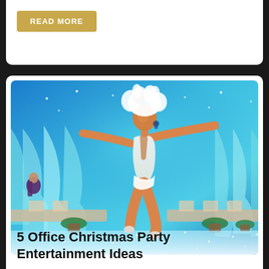READ MORE
[Figure (photo): A dancer in a white sequined costume and white feathered headpiece performing on a glittering white dance floor, with teal/blue draped fabric decorations in the background and blue stage lighting.]
5 Office Christmas Party Entertainment Ideas